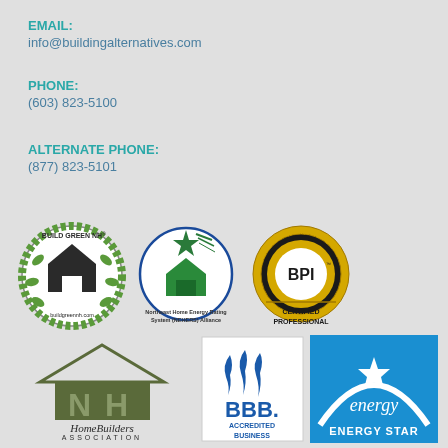EMAIL:
info@buildingalternatives.com
PHONE:
(603) 823-5100
ALTERNATE PHONE:
(877) 823-5101
[Figure (logo): Build Green NH circular logo with house and leaves, buildgreennh.com]
[Figure (logo): Northeast Home Energy Rating System (NEHERS) Alliance logo with star and house]
[Figure (logo): BPI Building Performance Institute Certified Professional circular seal logo]
[Figure (logo): NH HomeBuilders Association logo with house roofline and NH columns]
[Figure (logo): BBB Accredited Business logo]
[Figure (logo): Energy Star logo with star and text]